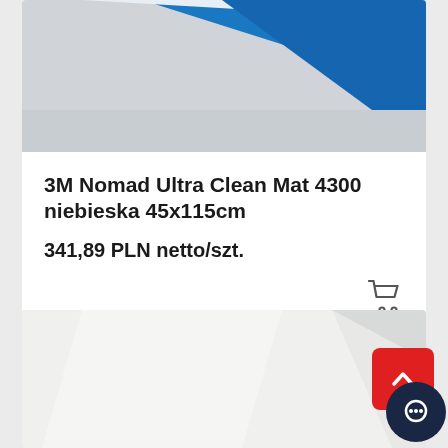[Figure (photo): Blue and white mat product photo, top portion cropped]
3M Nomad Ultra Clean Mat 4300 niebieska 45x115cm
341,89 PLN netto/szt.
[Figure (photo): White/grey mat product photo, partial view]